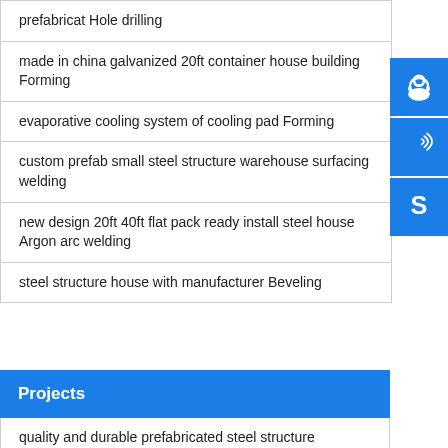prefabricat Hole drilling
made in china galvanized 20ft container house building Forming
evaporative cooling system of cooling pad Forming
custom prefab small steel structure warehouse surfacing welding
new design 20ft 40ft flat pack ready install steel house Argon arc welding
steel structure house with manufacturer Beveling
Projects
quality and durable prefabricated steel structure